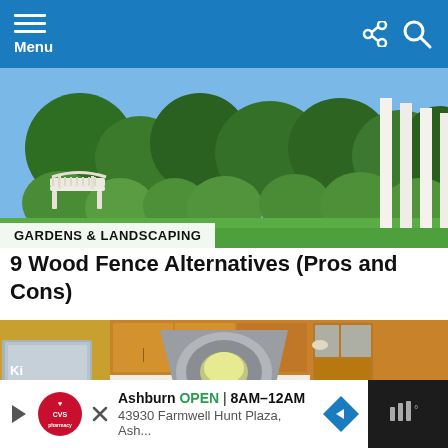Menu
[Figure (photo): Garden scene with white bench and green shrubs/trees under blue sky]
GARDENS & LANDSCAPING
9 Wood Fence Alternatives (Pros and Cons)
[Figure (photo): Kitchen interior with wood cabinets, stainless steel appliances, island with cooktop, and dining area visible through doorway]
Ki
[Figure (infographic): CVS Pharmacy advertisement: Ashburn OPEN 8AM-12AM, 43930 Farmwell Hunt Plaza, Ash...]